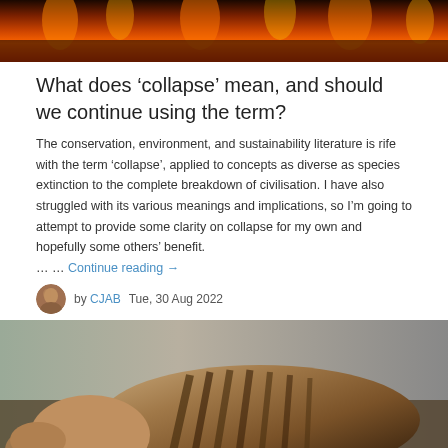[Figure (photo): Wildfire or burning landscape image showing flames and dark smoke at the top of the page]
What does ‘collapse’ mean, and should we continue using the term?
The conservation, environment, and sustainability literature is rife with the term ‘collapse’, applied to concepts as diverse as species extinction to the complete breakdown of civilisation. I have also struggled with its various meanings and implications, so I’m going to attempt to provide some clarity on collapse for my own and hopefully some others’ benefit. … … Continue reading →
by CJAB   Tue, 30 Aug 2022
[Figure (photo): Close-up photograph of what appears to be a thylacine (Tasmanian tiger) showing its distinctive striped body]